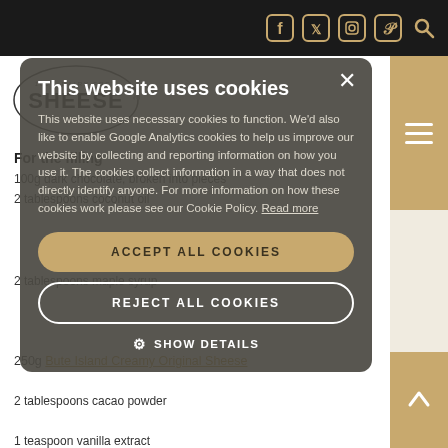Sheese website header with social icons (Facebook, Twitter, Instagram, Pinterest, Search) and navigation
[Figure (logo): Sheese 100% Dairy-Free logo — circular logo with SHEESE text]
For the filling
100g dark chocolate, broken into pieces
2 tablespoons coconut oil
2 tablespoons maple syrup
250g Bute Island Creamy Original Sheese
2 tablespoons cacao powder
1 teaspoon vanilla extract
This website uses cookies
This website uses necessary cookies to function. We'd also like to enable Google Analytics cookies to help us improve our website by collecting and reporting information on how you use it. The cookies collect information in a way that does not directly identify anyone. For more information on how these cookies work please see our Cookie Policy. Read more
ACCEPT ALL COOKIES
REJECT ALL COOKIES
SHOW DETAILS